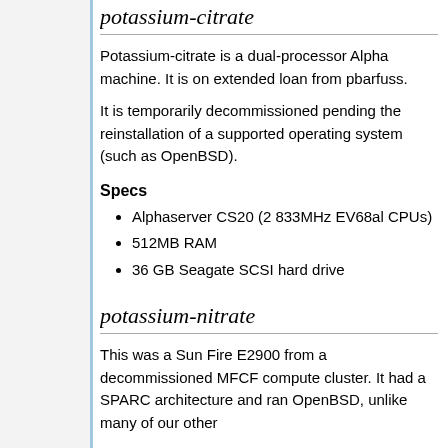potassium-citrate
Potassium-citrate is a dual-processor Alpha machine. It is on extended loan from pbarfuss.
It is temporarily decommissioned pending the reinstallation of a supported operating system (such as OpenBSD).
Specs
Alphaserver CS20 (2 833MHz EV68al CPUs)
512MB RAM
36 GB Seagate SCSI hard drive
potassium-nitrate
This was a Sun Fire E2900 from a decommissioned MFCF compute cluster. It had a SPARC architecture and ran OpenBSD, unlike many of our other